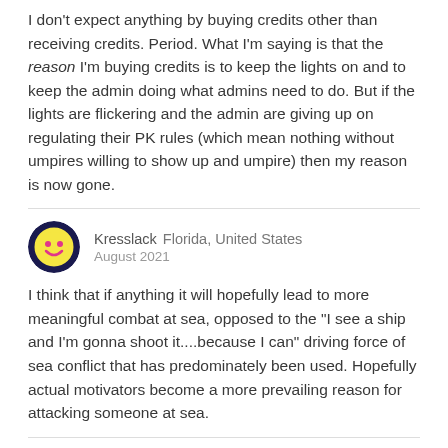I don't expect anything by buying credits other than receiving credits. Period. What I'm saying is that the reason I'm buying credits is to keep the lights on and to keep the admin doing what admins need to do. But if the lights are flickering and the admin are giving up on regulating their PK rules (which mean nothing without umpires willing to show up and umpire) then my reason is now gone.
Kresslack  Florida, United States
August 2021
I think that if anything it will hopefully lead to more meaningful combat at sea, opposed to the "I see a ship and I'm gonna shoot it....because I can" driving force of sea conflict that has predominately been used. Hopefully actual motivators become a more prevailing reason for attacking someone at sea.
Shecks
August 2021   edited August 2021